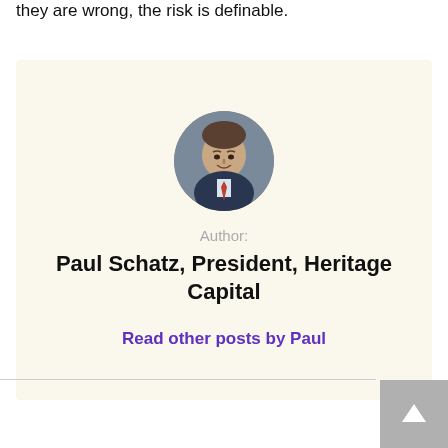they are wrong, the risk is definable.
[Figure (photo): Circular headshot photo of Paul Schatz, a man in a suit with a red tie, smiling]
Author:
Paul Schatz, President, Heritage Capital
Read other posts by Paul